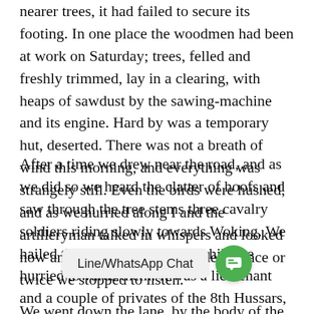nearer trees, it had failed to secure its footing. In one place the woodmen had been at work on Saturday; trees, felled and freshly trimmed, lay in a clearing, with heaps of sawdust by the sawing-machine and its engine. Hard by was a temporary hut, deserted. There was not a breath of wind this morning, and everything was strangely still. Even the birds were hushed, and as we hurried along I and the artilleryman talked in whispers and looked now and again over our shoulders. Once or twice we stopped to listen.
After a time we drew near the road, and as we did so we heard the clatter of hoofs and saw through the tree stems three cavalry soldiers riding slowly towards Woking. We hailed them, and they halted while we hurried towards them. It was a lieutenant and a couple of privates of the 8th Hussars, with a st[overlaid]...which the artilleryman told me was a heliograph.
We went down the lane, by the body of the man in black